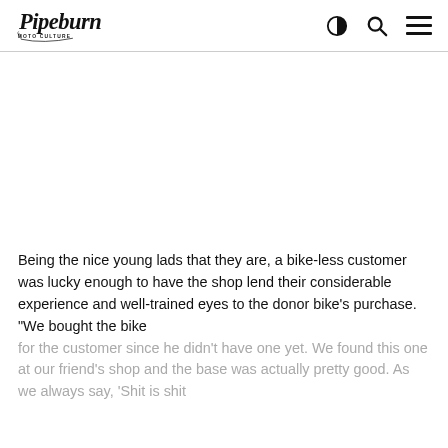Pipeburn Moto Culture [logo with search and menu icons]
[Figure (photo): Blank white image area below the navigation header]
Being the nice young lads that they are, a bike-less customer was lucky enough to have the shop lend their considerable experience and well-trained eyes to the donor bike’s purchase. “We bought the bike for the customer since he didn’t have one yet. We found this one at our friend’s shop and the base was actually pretty good. As we always say, ‘Shit is shit